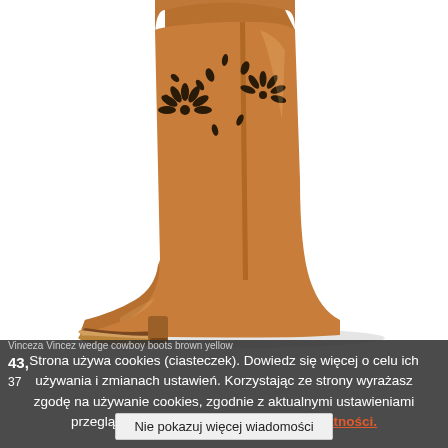[Figure (photo): Brown suede cowboy-style ankle boot with laser-cut decorative pattern on the shaft, wedge hidden heel, and darker toe cap. Photographed on white background.]
Vinceza Vincez wedge cowboy boots brown yellow
43,... 37
Strona używa cookies (ciasteczek). Dowiedz się więcej o celu ich używania i zmianach ustawień. Korzystając ze strony wyrażasz zgodę na używanie cookies, zgodnie z aktualnymi ustawieniami przeglądarki. Zobacz naszą politykę prywatności.
Nie pokazuj więcej wiadomości